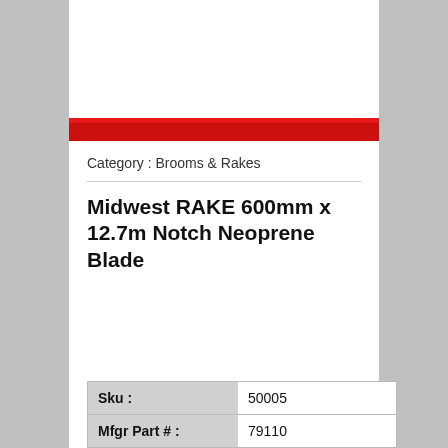Category : Brooms & Rakes
Midwest RAKE 600mm x 12.7m Notch Neoprene Blade
|  |  |
| --- | --- |
| Sku : | 50005 |
| Mfgr Part # : | 79110 |